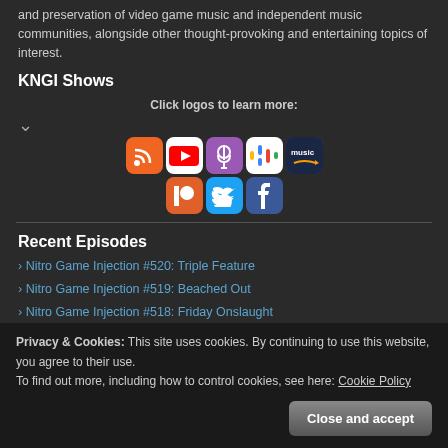and preservation of video game music and independent music communities, alongside other thought-provoking and entertaining topics of interest.
KNGI Shows
Click logos to learn more:
[Figure (logo): Row of social/platform logos: RSS, YouTube, Podcast, Google Podcasts, Amazon Music, Patreon, Twitter, Facebook]
Recent Episodes
Nitro Game Injection #520: Triple Feature
Nitro Game Injection #519: Beached Out
Nitro Game Injection #518: Friday Onslaught
Privacy & Cookies: This site uses cookies. By continuing to use this website, you agree to their use. To find out more, including how to control cookies, see here: Cookie Policy